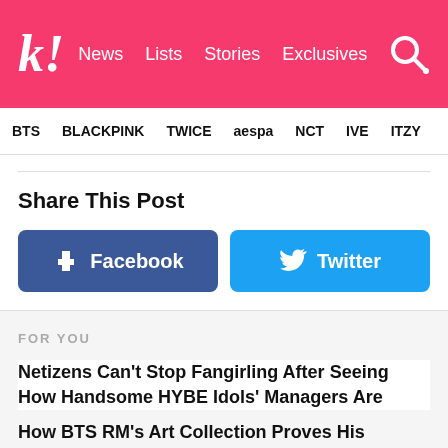k! News Lists Stories Exclusives
BTS BLACKPINK TWICE aespa NCT IVE ITZY
Share This Post
[Figure (infographic): Facebook share button (blue, with Facebook logo)]
[Figure (infographic): Twitter share button (light blue, with Twitter bird logo)]
FOR YOU
Netizens Can't Stop Fangirling After Seeing How Handsome HYBE Idols' Managers Are
How BTS RM's Art Collection Proves His Comfort And...